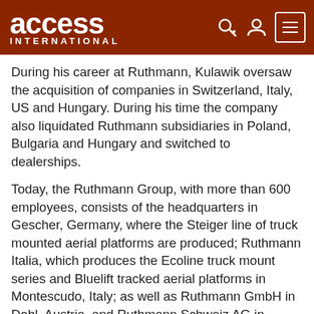access INTERNATIONAL
During his career at Ruthmann, Kulawik oversaw the acquisition of companies in Switzerland, Italy, US and Hungary. During his time the company also liquidated Ruthmann subsidiaries in Poland, Bulgaria and Hungary and switched to dealerships.
Today, the Ruthmann Group, with more than 600 employees, consists of the headquarters in Gescher, Germany, where the Steiger line of truck mounted aerial platforms are produced; Ruthmann Italia, which produces the Ecoline truck mount series and Bluelift tracked aerial platforms in Montescudo, Italy; as well as Ruthmann GmbH in Dobl, Austria, and Ruthmann Schweiz AG in Kloten.
Industry awards